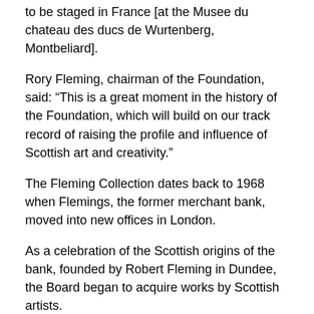to be staged in France [at the Musee du chateau des ducs de Wurtenberg, Montbeliard].
Rory Fleming, chairman of the Foundation, said: “This is a great moment in the history of the Foundation, which will build on our track record of raising the profile and influence of Scottish art and creativity.”
The Fleming Collection dates back to 1968 when Flemings, the former merchant bank, moved into new offices in London.
As a celebration of the Scottish origins of the bank, founded by Robert Fleming in Dundee, the Board began to acquire works by Scottish artists.
The collection includes works dating from the 18th century, including paintings by Allan Ramsay and Henry Raeburn.